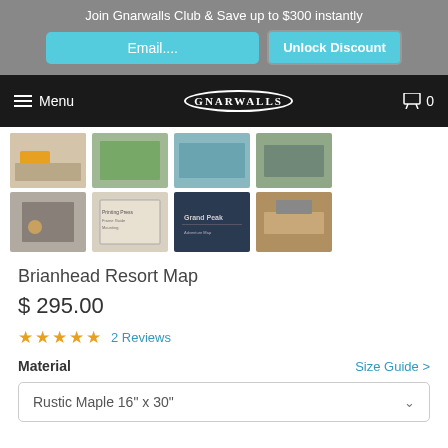Join Gnarwalls Club & Save up to $300 instantly
Email....
Unlock Discount
Menu   GNARWALLS   0
[Figure (photo): Row of thumbnail product images showing wall art in room settings and close-up details]
[Figure (photo): Second row of thumbnail product images showing framing options and product details]
Brianhead Resort Map
$ 295.00
★★★★★ 2 Reviews
Material   Size Guide >
Rustic Maple 16" x 30"